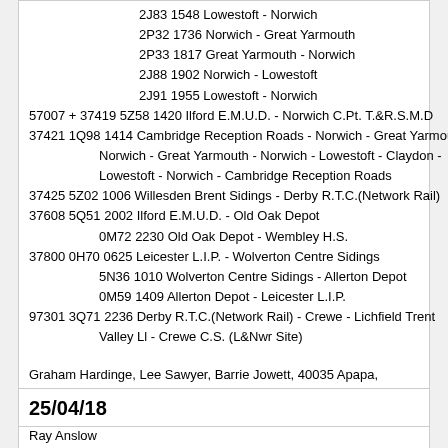2J83 1548 Lowestoft - Norwich
2P32 1736 Norwich - Great Yarmouth
2P33 1817 Great Yarmouth - Norwich
2J88 1902 Norwich - Lowestoft
2J91 1955 Lowestoft - Norwich
57007 + 37419 5Z58 1420 Ilford E.M.U.D. - Norwich C.Pt. T.&R.S.M.D
37421 1Q98 1414 Cambridge Reception Roads - Norwich - Great Yarmouth - Norwich - Great Yarmouth - Norwich - Lowestoft - Claydon - Lowestoft - Norwich - Cambridge Reception Roads
37425 5Z02 1006 Willesden Brent Sidings - Derby R.T.C.(Network Rail)
37608 5Q51 2002 Ilford E.M.U.D. - Old Oak Depot
0M72 2230 Old Oak Depot - Wembley H.S.
37800 0H70 0625 Leicester L.I.P. - Wolverton Centre Sidings
5N36 1010 Wolverton Centre Sidings - Allerton Depot
0M59 1409 Allerton Depot - Leicester L.I.P.
97301 3Q71 2236 Derby R.T.C.(Network Rail) - Crewe - Lichfield Trent Valley Ll - Crewe C.S. (L&Nwr Site)
Graham Hardinge, Lee Sawyer, Barrie Jowett, 40035 Apapa, Richard Moxon, Kim Fullbrook, Andrew Vines, John Podgorski, Valenta Forever, Ray Anslow & Dave Ross
25/04/18